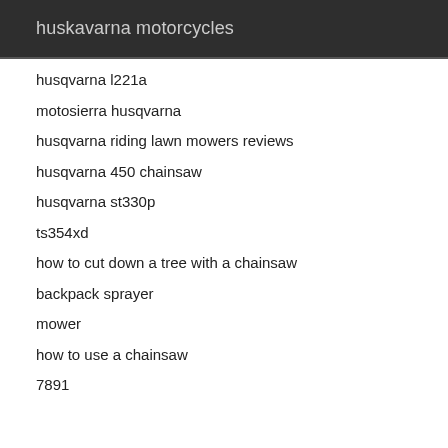huskavarna motorcycles
husqvarna l221a
motosierra husqvarna
husqvarna riding lawn mowers reviews
husqvarna 450 chainsaw
husqvarna st330p
ts354xd
how to cut down a tree with a chainsaw
backpack sprayer
mower
how to use a chainsaw
7891